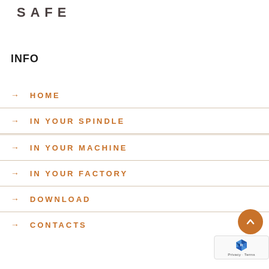SAFE
INFO
→ HOME
→ IN YOUR SPINDLE
→ IN YOUR MACHINE
→ IN YOUR FACTORY
→ DOWNLOAD
→ CONTACTS